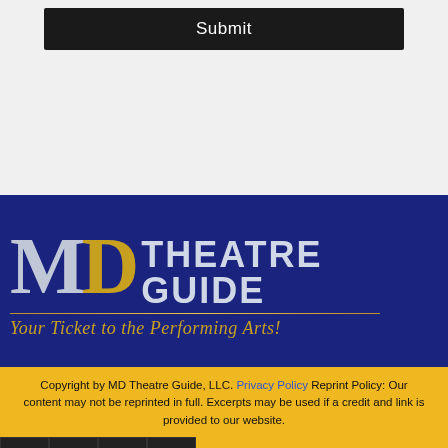Submit
[Figure (logo): MD Theatre Guide logo — large MD letters (M in silver/gray, D in gold) beside 'THEATRE GUIDE' in white/silver bold caps, with a gold horizontal rule and gold italic tagline 'Your Ticket to the Performing Arts!' on a dark navy background]
Copyright by MD Theatre Guide, LLC. Privacy Policy Reprint Policy: Our content may not be reprinted in full. Excerpts may be used if a credit and link is provided to our website.